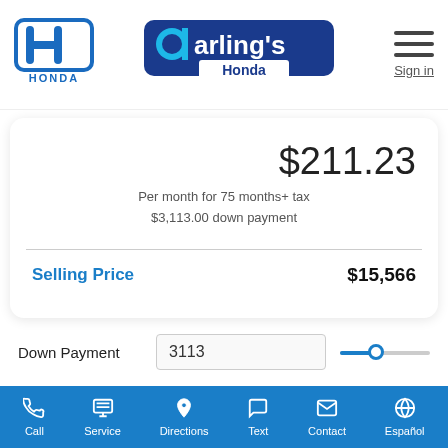[Figure (logo): Honda logo - blue H in rounded square with HONDA text below]
[Figure (logo): Darling's Honda logo - dark blue text with stylized d]
Sign in
$211.23
Per month for 75 months+ tax
$3,113.00 down payment
Selling Price
$15,566
Down Payment
3113
Your Trade
0
Call   Service   Directions   Text   Contact   Español